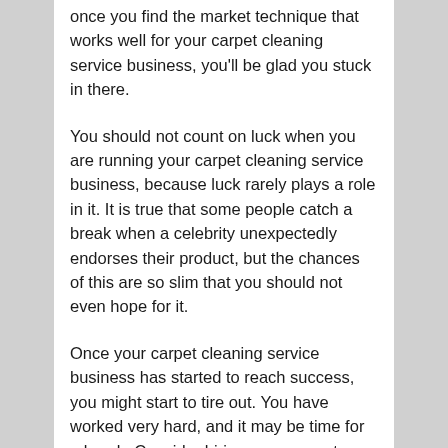once you find the market technique that works well for your carpet cleaning service business, you'll be glad you stuck in there.
You should not count on luck when you are running your carpet cleaning service business, because luck rarely plays a role in it. It is true that some people catch a break when a celebrity unexpectedly endorses their product, but the chances of this are so slim that you should not even hope for it.
Once your carpet cleaning service business has started to reach success, you might start to tire out. You have worked very hard, and it may be time for a break. Consider hiring a manager to take over most of your duties for your business. You can have some rest, but your business can still run on successfully.
Work within your means. Only use the money that you need to do what you must do and be mindful of unnecessary spending. If you allocate your funds properly